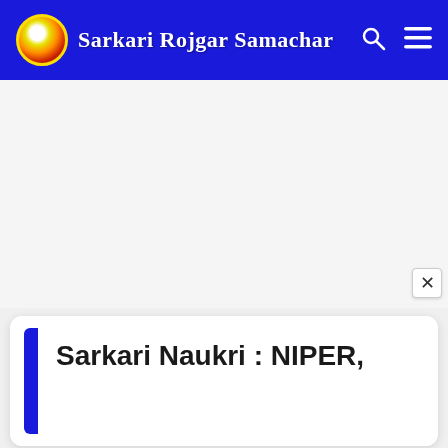Sarkari Rojgar Samachar
[Figure (screenshot): White advertisement area with close (×) button in lower right corner]
Sarkari Naukri : NIPER,